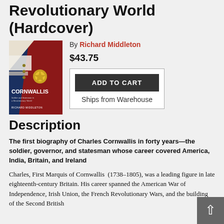Revolutionary World (Hardcover)
By Richard Middleton
$43.75
[Figure (illustration): Book cover of Cornwallis: Soldier and Statesman in a Revolutionary World by Richard Middleton. Dark blue and red background with military imagery.]
ADD TO CART
Ships from Warehouse
Description
The first biography of Charles Cornwallis in forty years—the soldier, governor, and statesman whose career covered America, India, Britain, and Ireland
Charles, First Marquis of Cornwallis  (1738–1805), was a leading figure in late eighteenth-century Britain. His career spanned the American War of Independence, Irish Union, the French Revolutionary Wars, and the building of the Second British